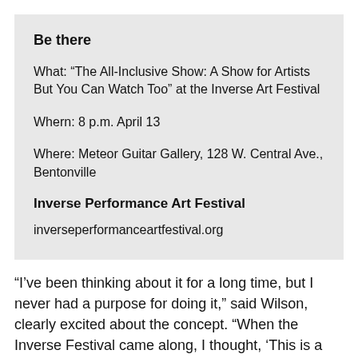Be there
What: “The All-Inclusive Show: A Show for Artists But You Can Watch Too” at the Inverse Art Festival
Whern: 8 p.m. April 13
Where: Meteor Guitar Gallery, 128 W. Central Ave., Bentonville
Inverse Performance Art Festival
inverseperformanceartfestival.org
"I've been thinking about it for a long time, but I never had a purpose for doing it," said Wilson, clearly excited about the concept. "When the Inverse Festival came along, I thought, 'This is a way for this to really happen!' I wrote the application for that, I warned everyone that I put their name